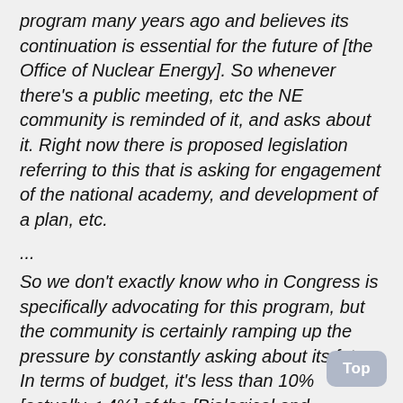program many years ago and believes its continuation is essential for the future of [the Office of Nuclear Energy]. So whenever there's a public meeting, etc the NE community is reminded of it, and asks about it. Right now there is proposed legislation referring to this that is asking for engagement of the national academy, and development of a plan, etc.
...
So we don't exactly know who in Congress is specifically advocating for this program, but the community is certainly ramping up the pressure by constantly asking about its fate. In terms of budget, it's less than 10% [actually < 4%] of the [Biological and Environmental Research] budget, and it is not directly related to administration priorities of climate or